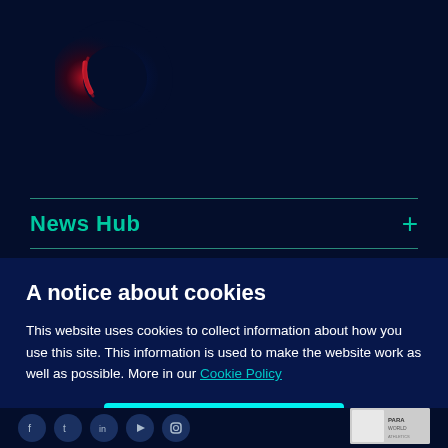[Figure (logo): Circular logo with dark background, glowing red-blue ring effect on the left side of the header]
News Hub
A notice about cookies
This website uses cookies to collect information about how you use this site. This information is used to make the website work as well as possible. More in our Cookie Policy
Allow all
Set preferences